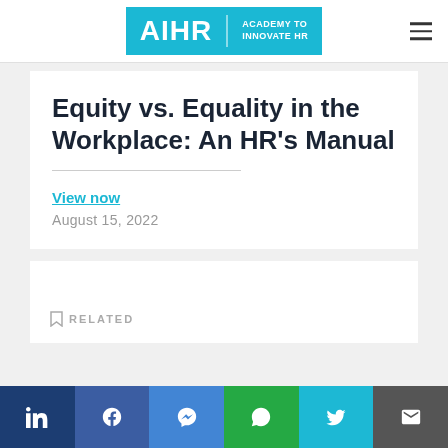AIHR | ACADEMY TO INNOVATE HR
Equity vs. Equality in the Workplace: An HR’s Manual
View now
August 15, 2022
RELATED
LinkedIn Facebook Messenger WhatsApp Twitter Email